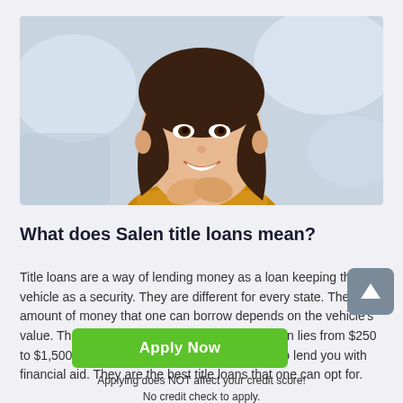[Figure (photo): Smiling young woman with brown hair wearing an orange/yellow top, resting her chin on her hands, blurred light background]
What does Salen title loans mean?
Title loans are a way of lending money as a loan keeping their vehicle as a security. They are different for every state. The amount of money that one can borrow depends on the vehicle's value. The range of money as a loan via title loan lies from $250 to $1,500. Similarly, there are Salen title loans to lend you with financial aid. They are the best title loans that one can opt for.
Apply Now
Applying does NOT affect your credit score!
No credit check to apply.